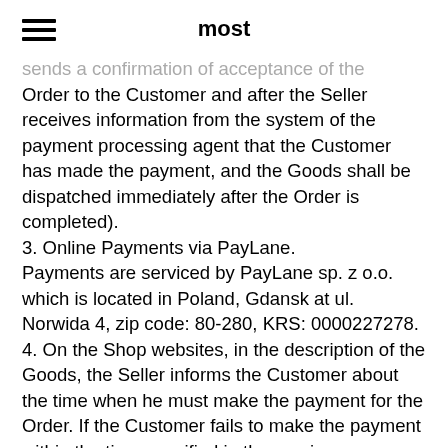most
sends a confirmation of acceptance of the Order to the Customer and after the Seller receives information from the system of the payment processing agent that the Customer has made the payment, and the Goods shall be dispatched immediately after the Order is completed).
3. Online Payments via PayLane.
Payments are serviced by PayLane sp. z o.o. which is located in Poland, Gdansk at ul. Norwida 4, zip code: 80-280, KRS: 0000227278.
4. On the Shop websites, in the description of the Goods, the Seller informs the Customer about the time when he must make the payment for the Order. If the Customer fails to make the payment within the time specified in the previous sentence, the Seller - after a prior ineffective cease and desist letter setting an